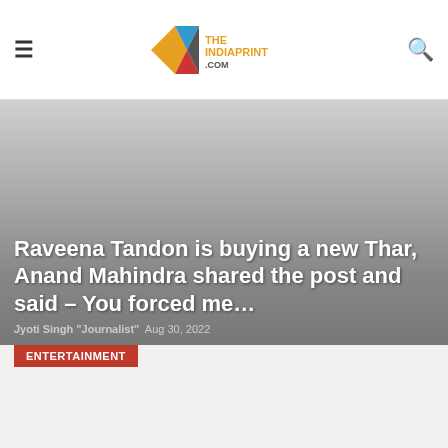THEINDIAPRINT.COM
Raveena Tandon is buying a new Thar, Anand Mahindra shared the post and said – You forced me…
Jyoti Singh "Journalist"  Aug 30, 2022
ENTERTAINMENT